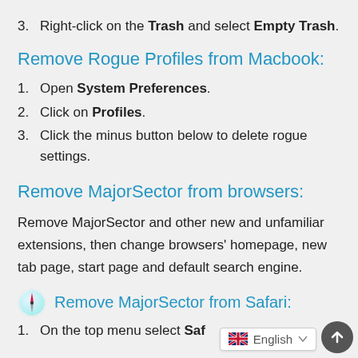3. Right-click on the Trash and select Empty Trash.
Remove Rogue Profiles from Macbook:
1. Open System Preferences.
2. Click on Profiles.
3. Click the minus button below to delete rogue settings.
Remove MajorSector from browsers:
Remove MajorSector and other new and unfamiliar extensions, then change browsers' homepage, new tab page, start page and default search engine.
Remove MajorSector from Safari:
1. On the top menu select Saf…